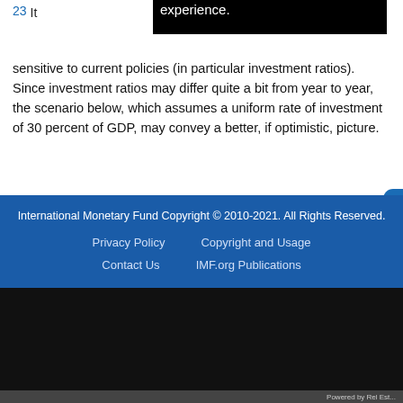23 It ... sensitive to current policies (in particular investment ratios). Since investment ratios may differ quite a bit from year to year, the scenario below, which assumes a uniform rate of investment of 30 percent of GDP, may convey a better, if optimistic, picture.
International Monetary Fund Copyright © 2010-2021. All Rights Reserved.
Privacy Policy   Copyright and Usage
Contact Us   IMF.org Publications